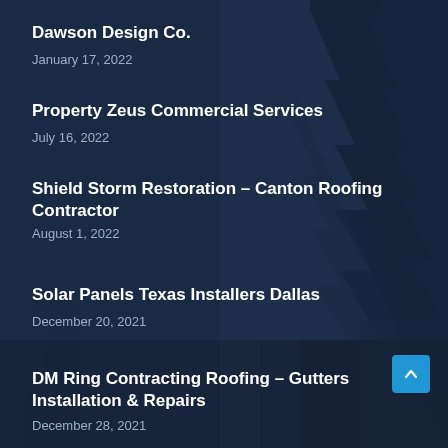Dawson Design Co.
January 17, 2022
Property Zeus Commercial Services
July 16, 2022
Shield Storm Restoration – Canton Roofing Contractor
August 1, 2022
Solar Panels Texas Installers Dallas
December 20, 2021
DM Ring Contracting Roofing – Gutters Installation & Repairs
December 28, 2021